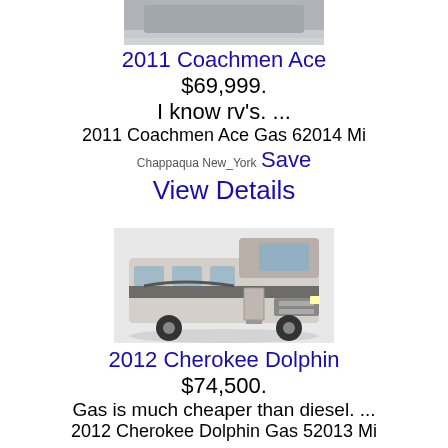[Figure (photo): Partial top view of a Class C RV, cropped at top]
2011 Coachmen Ace
$69,999.
I know rv's. ...
2011 Coachmen Ace Gas 62014 Mi
Chappaqua New_York Save
View Details
[Figure (photo): 2012 Cherokee Dolphin Class C motorhome, white and brown, parked on pavement]
2012 Cherokee Dolphin
$74,500.
Gas is much cheaper than diesel. ...
2012 Cherokee Dolphin Gas 52013 Mi